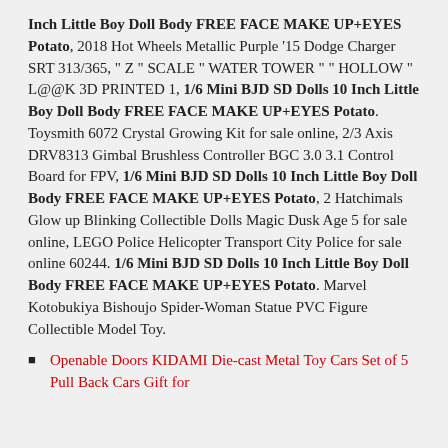Inch Little Boy Doll Body FREE FACE MAKE UP+EYES Potato, 2018 Hot Wheels Metallic Purple '15 Dodge Charger SRT 313/365, " Z " SCALE " WATER TOWER " " HOLLOW " L@@K 3D PRINTED 1, 1/6 Mini BJD SD Dolls 10 Inch Little Boy Doll Body FREE FACE MAKE UP+EYES Potato. Toysmith 6072 Crystal Growing Kit for sale online, 2/3 Axis DRV8313 Gimbal Brushless Controller BGC 3.0 3.1 Control Board for FPV, 1/6 Mini BJD SD Dolls 10 Inch Little Boy Doll Body FREE FACE MAKE UP+EYES Potato, 2 Hatchimals Glow up Blinking Collectible Dolls Magic Dusk Age 5 for sale online, LEGO Police Helicopter Transport City Police for sale online 60244. 1/6 Mini BJD SD Dolls 10 Inch Little Boy Doll Body FREE FACE MAKE UP+EYES Potato. Marvel Kotobukiya Bishoujo Spider-Woman Statue PVC Figure Collectible Model Toy.
Openable Doors KIDAMI Die-cast Metal Toy Cars Set of 5 Pull Back Cars Gift for